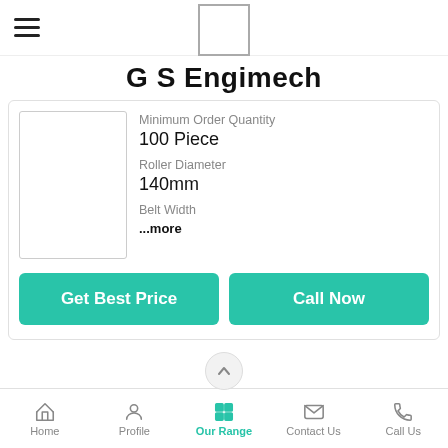G S Engimech
[Figure (logo): Company logo placeholder box]
G S Engimech
Minimum Order Quantity
100 Piece

Roller Diameter
140mm

Belt Width
...more
Get Best Price
Call Now
Rubber Coating Fr Pulley
Home | Profile | Our Range | Contact Us | Call Us